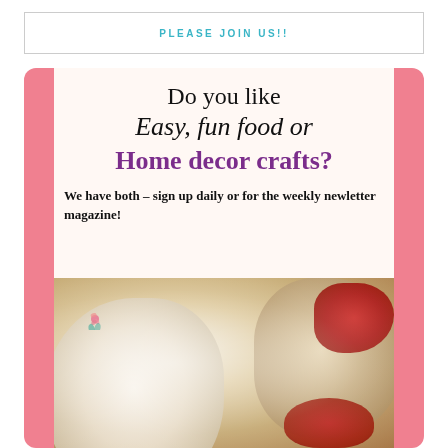PLEASE JOIN US!!
[Figure (illustration): Promotional newsletter signup card with pink background. Text reads: Do you like Easy, fun food or Home decor crafts? We have both – sign up daily or for the weekly newletter magazine! Below text is a photo of powdered sugar pastries with red jam filling.]